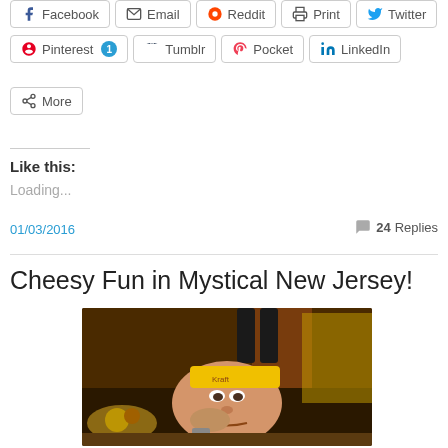[Figure (screenshot): Social share buttons row 1: Facebook, Email, Reddit, Print, Twitter]
[Figure (screenshot): Social share buttons row 2: Pinterest (1), Tumblr, Pocket, LinkedIn]
[Figure (screenshot): More share button]
Like this:
Loading...
01/03/2016
24 Replies
Cheesy Fun in Mystical New Jersey!
[Figure (photo): A person eating food at a restaurant with a yellow Kraft cheese lid on their forehead, with food and dark mugs visible in the background]